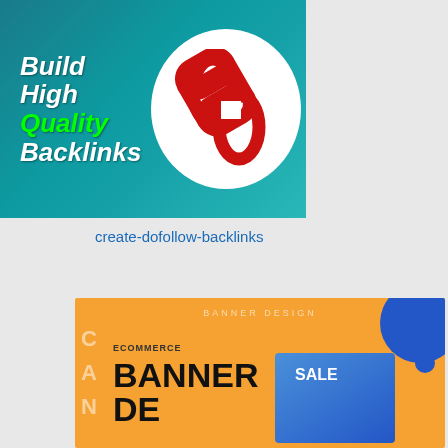[Figure (illustration): Banner graphic with teal/dark cyan gradient background. Bold white italic text on left reads 'Build High Quality Backlinks' with 'Quality' in green. White circle on right contains a red chain-link icon.]
create-dofollow-backlinks
[Figure (illustration): Orange banner design template graphic showing 'BANNER DESIGN' text in bold with 'ECOMMERCE' label, blue decorative circles top-right, vertical letters C-A-N on left edge, a blue rectangle with 'SALE' text, and a woman figure on right. Social sharing buttons (Facebook, Twitter, Pinterest, Plus) overlaid at bottom in a white rounded bar.]